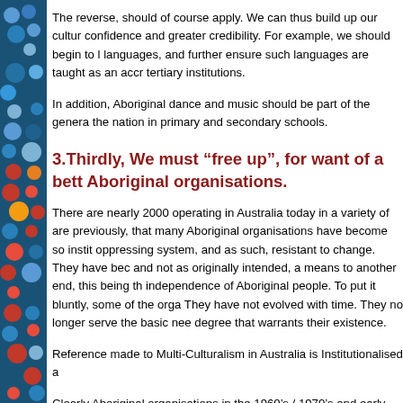The reverse, should of course apply. We can thus build up our cultur confidence and greater credibility. For example, we should begin to l languages, and further ensure such languages are taught as an accr tertiary institutions.
In addition, Aboriginal dance and music should be part of the genera the nation in primary and secondary schools.
3.Thirdly, We must “free up”, for want of a bett Aboriginal organisations.
There are nearly 2000 operating in Australia today in a variety of are previously, that many Aboriginal organisations have become so instit oppressing system, and as such, resistant to change. They have bec and not as originally intended, a means to another end, this being th independence of Aboriginal people. To put it bluntly, some of the org They have not evolved with time. They no longer serve the basic nee degree that warrants their existence.
Reference made to Multi-Culturalism in Australia is Institutionalised a
Clearly Aboriginal organisations in the 1960’s / 1970’s and early 1980